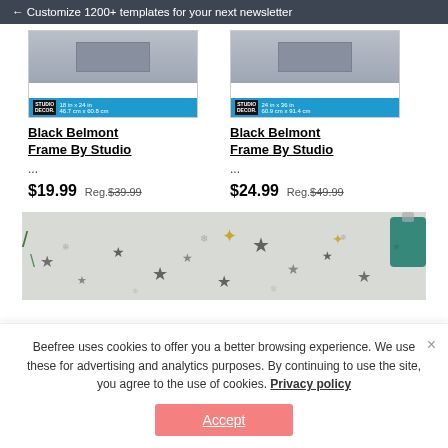← Customize 1200+ templates for your next newsletter
[Figure (photo): Product image of Black Belmont Frame by Studio Decor, 18in x 24in]
Black Belmont Frame By Studio ...
$19.99  Reg. $39.99
[Figure (photo): Product image of Black Belmont Frame by Studio Decor, 24in x 36in]
Black Belmont Frame By Studio ...
$24.99  Reg. $49.99
[Figure (photo): Holiday banner with Christmas stars, pine branches, snowflakes and ornaments on white background]
Beefree uses cookies to offer you a better browsing experience. We use these for advertising and analytics purposes. By continuing to use the site, you agree to the use of cookies. Privacy policy
Accept